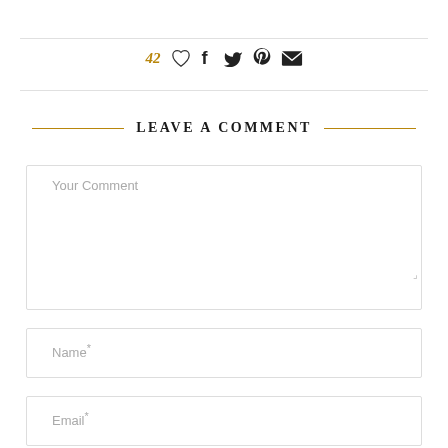[Figure (infographic): Social sharing bar with like count 42 (in gold/amber), heart icon, Facebook icon, Twitter icon, Pinterest icon, and email/envelope icon]
LEAVE A COMMENT
Your Comment
Name*
Email*